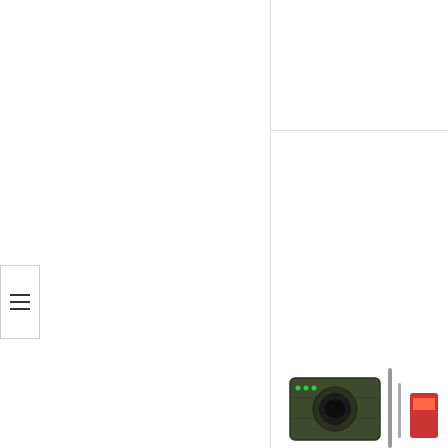[Figure (screenshot): Left panel of a product listing page, partially visible, white background with a vertical divider line]
[Figure (other): Hamburger menu icon with three horizontal lines, positioned on the left edge]
Archery Bow String S... Recurve Bow
$6.88
FREE SHIPPING ELIGIBLE
★★★★ (1)
[Figure (photo): Partial view of a trail/game camera product image at the bottom right]